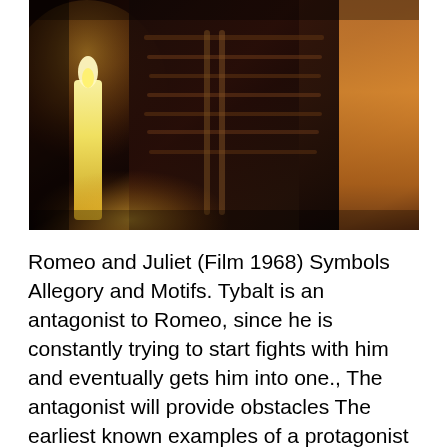[Figure (photo): A person wearing an ornate dark military-style jacket with gold embellishments and braiding, photographed in dim candlelight with warm golden tones. Appears to be a costume from a film adaptation of Romeo and Juliet.]
Romeo and Juliet (Film 1968) Symbols Allegory and Motifs. Tybalt is an antagonist to Romeo, since he is constantly trying to start fights with him and eventually gets him into one., The antagonist will provide obstacles The earliest known examples of a protagonist are In Shakespeare's